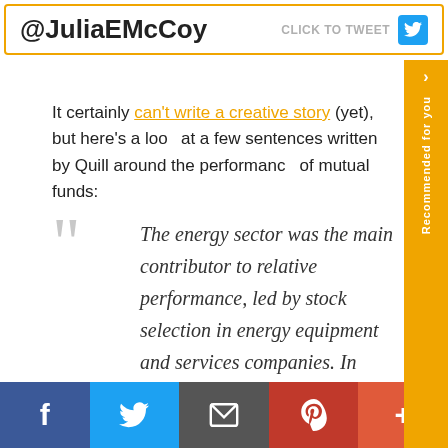@JuliaEMcCoy  CLICK TO TWEET
It certainly can't write a creative story (yet), but here's a look at a few sentences written by Quill around the performance of mutual funds:
The energy sector was the main contributor to relative performance, led by stock selection in energy equipment and services companies. In terms of individual contributors, a position in energy equipment and services company Oceaneering International was the largest contributor to returns. Stock selection also contributed to relative results in the health care sector.
Facebook  Twitter  Email  Pinterest  More